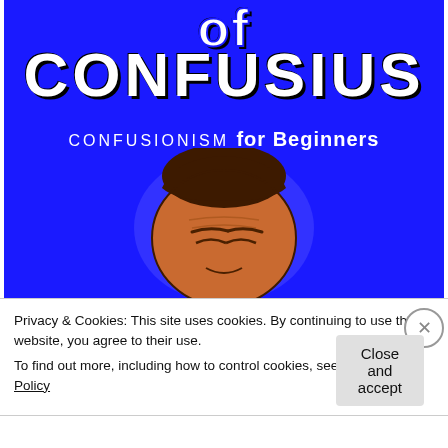[Figure (illustration): Book cover with bright blue background showing title text 'of CONFUSIUS' and subtitle 'CONFUSIONISM for Beginners' with an illustrated caricature face of Confucius in orange/brown tones]
Privacy & Cookies: This site uses cookies. By continuing to use this website, you agree to their use.
To find out more, including how to control cookies, see here: Cookie Policy
Close and accept